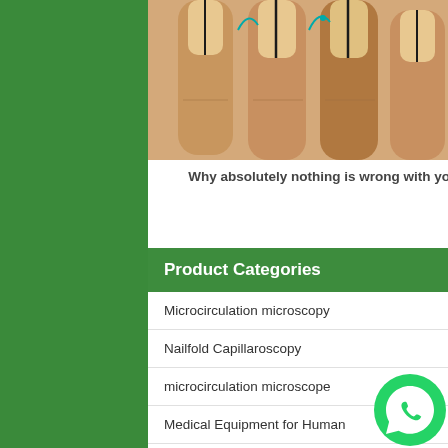[Figure (photo): Close-up photo of human fingers (toes or fingertips) with capillaroscopy markings in green/teal and black lines on the nails]
Why absolutely nothing is wrong with your metatron diagnostic machine review.
Product Categories
Microcirculation microscopy
Nailfold Capillaroscopy
microcirculation microscope
Medical Equipment for Human
Microscope Instruments
Digital Microscope